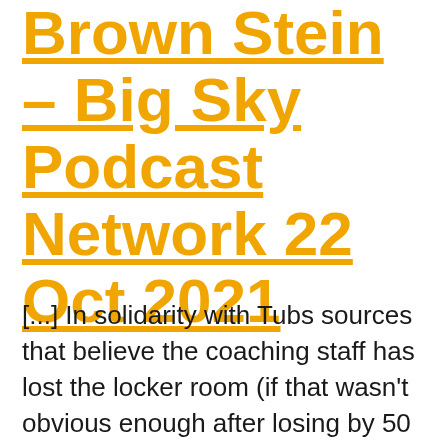Brown Stein – Big Sky Podcast Network 22 Oct 2021
[...] In solidarity with Tubs sources that believe the coaching staff has lost the locker room (if that wasn't obvious enough after losing by 50 to a conference opponent), I, Producer Dammer, have quit